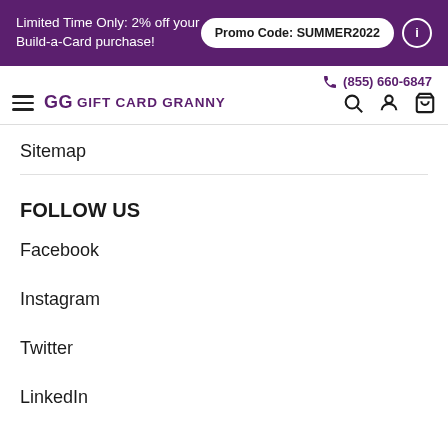Limited Time Only: 2% off your Build-a-Card purchase! Promo Code: SUMMER2022
GG GIFT CARD GRANNY (855) 660-6847
Sitemap
FOLLOW US
Facebook
Instagram
Twitter
LinkedIn